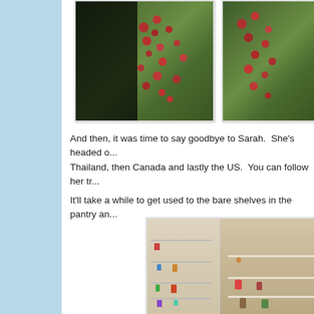[Figure (photo): Photo of plant branches with red berries and green leaves, partially obscured by dark shape on left]
[Figure (photo): Close-up photo of red berries on green plant branches (partially cropped at right)]
And then, it was time to say goodbye to Sarah.  She's headed o... Thailand, then Canada and lastly the US.  You can follow her tr...
It'll take a while to get used to the bare shelves in the pantry an...
[Figure (photo): Photo of a pantry/cabinet with wire door racks and shelves containing various food items and cans]